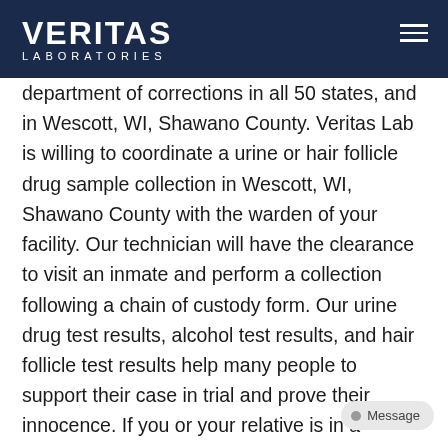VERITAS LABORATORIES
department of corrections in all 50 states, and in Wescott, WI, Shawano County. Veritas Lab is willing to coordinate a urine or hair follicle drug sample collection in Wescott, WI, Shawano County with the warden of your facility. Our technician will have the clearance to visit an inmate and perform a collection following a chain of custody form. Our urine drug test results, alcohol test results, and hair follicle test results help many people to support their case in trial and prove their innocence. If you or your relative is in a situation that requires a drug or alcohol test as an evidence in your case, please call us our hotline 24/7 so our knowledgeable case managers can help you choose the right test and schedule a collection in jail or prison in Wescott, WI, Shawano County.